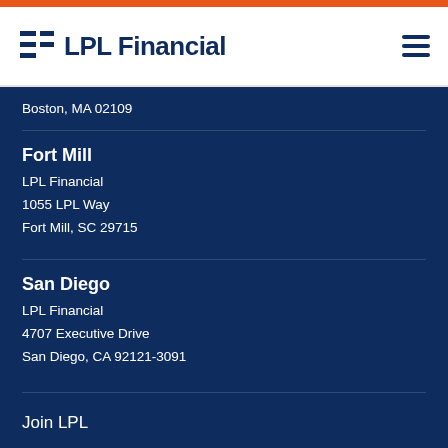LPL Financial
Boston, MA 02109
Fort Mill
LPL Financial
1055 LPL Way
Fort Mill, SC 29715
San Diego
LPL Financial
4707 Executive Drive
San Diego, CA 92121-3091
Join LPL
Work with a Financial Professional
About Us